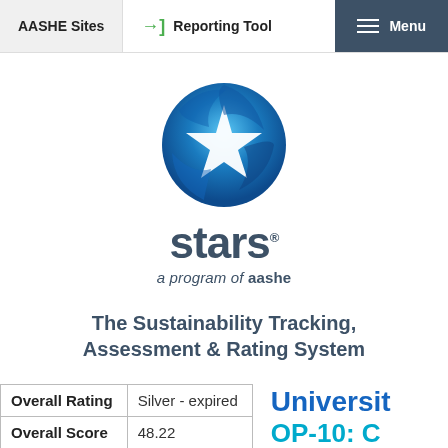AASHE Sites | Reporting Tool | Menu
[Figure (logo): STARS logo: blue swirling globe with white star, above the word 'stars' with registered mark, subtitle 'a program of aashe']
The Sustainability Tracking, Assessment & Rating System
| Overall Rating | Silver - expired |
| Overall Score | 48.22 |
Universit
OP-10: C